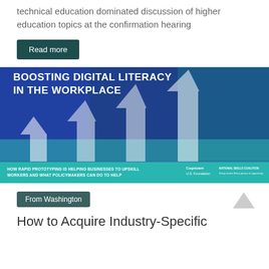technical education dominated discussion of higher education topics at the confirmation hearing
Read more
[Figure (infographic): Boosting Digital Literacy in the Workplace infographic with upward arrows and workplace photos. Text reads: BOOSTING DIGITAL LITERACY IN THE WORKPLACE. HOW RAPID PROTOTYPING IS HELPING BUSINESSES TO UPSKILL WORKERS AND WHAT POLICYMAKERS CAN DO TO HELP. Logos: Cognizant U.S. Foundation, National Skills Coalition.]
From Washington
How to Acquire Industry-Specific